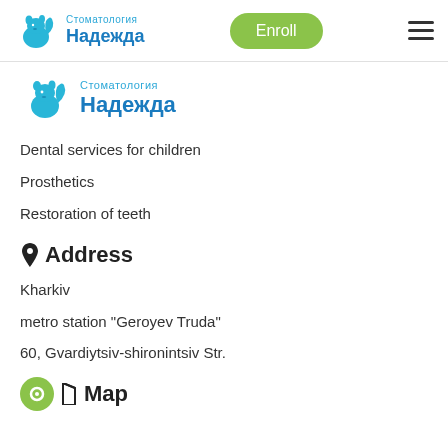Стоматология Надежда | Enroll | Menu
[Figure (logo): Blue squirrel logo with Cyrillic text Стоматология Надежда]
Dental services for children
Prosthetics
Restoration of teeth
Address
Kharkiv
metro station "Geroyev Truda"
60, Gvardiytsiv-shironintsiv Str.
Map